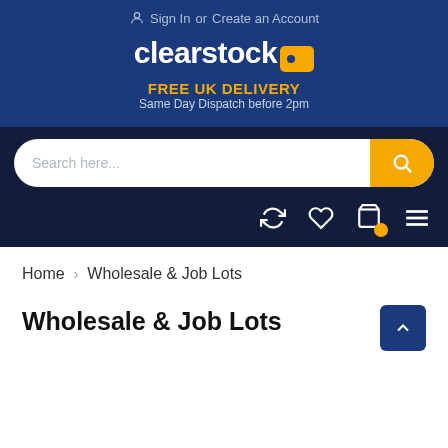Sign In or Create an Account
[Figure (logo): Clearstock logo with yellow tag icon]
FREE UK DELIVERY
Same Day Dispatch before 2pm
[Figure (screenshot): Search bar with yellow search button]
[Figure (infographic): Icon bar with refresh, heart, bag/notification, and menu icons]
Home › Wholesale & Job Lots
Wholesale & Job Lots